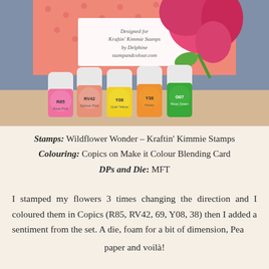[Figure (photo): Photo of a handmade card with pink flower stamp and Copic markers (R85 Rose Red, RV42 Salmon Pink, Y08 Gold Yellow, Y38 Honey, G07 Moss Green) displayed in front of it.]
Stamps: Wildflower Wonder – Kraftin' Kimmie Stamps
Colouring: Copics on Make it Colour Blending Card
DPs and Die: MFT
I stamped my flowers 3 times changing the direction and I coloured them in Copics (R85, RV42, 69, Y08, 38) then I added a sentiment from the set. A die, foam for a bit of dimension, Pea paper and voilà!